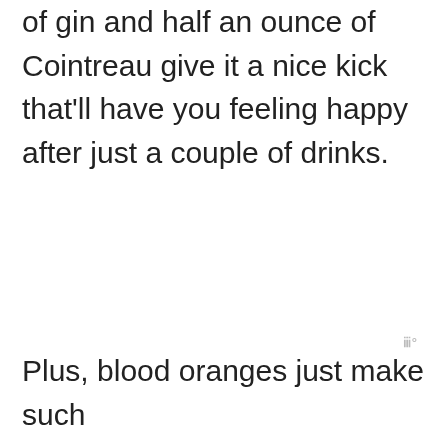of gin and half an ounce of Cointreau give it a nice kick that'll have you feeling happy after just a couple of drinks.
Plus, blood oranges just make such